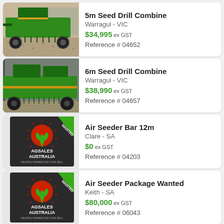[Figure (photo): Green 5m Seed Drill Combine agricultural equipment photo]
5m Seed Drill Combine
Warragul - VIC
$34,995 ex GST
Reference # 04652
[Figure (photo): Green 6m Seed Drill Combine agricultural equipment photo]
6m Seed Drill Combine
Warragul - VIC
$38,990 ex GST
Reference # 04657
[Figure (logo): AgSales Australia logo with WANTED banner - Air Seeder Bar 12m listing]
Air Seeder Bar 12m
Clare - SA
$0 ex GST
Reference # 04203
[Figure (logo): AgSales Australia logo with WANTED banner - Air Seeder Package Wanted listing]
Air Seeder Package Wanted
Keith - SA
$80,000 ex GST
Reference # 06043